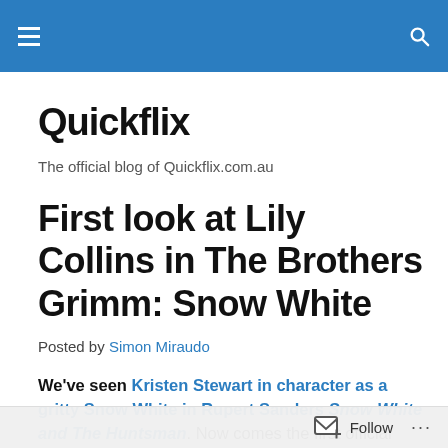[navigation bar with hamburger menu and search icon]
Quickflix
The official blog of Quickflix.com.au
First look at Lily Collins in The Brothers Grimm: Snow White
Posted by Simon Miraudo
We've seen Kristen Stewart in character as a gritty Snow White in Rupert Sanders Snow White and The Huntsman. Now comes the first official photo of Lily Collins as Snow in Tarsem Singh's own take on the
Follow ...